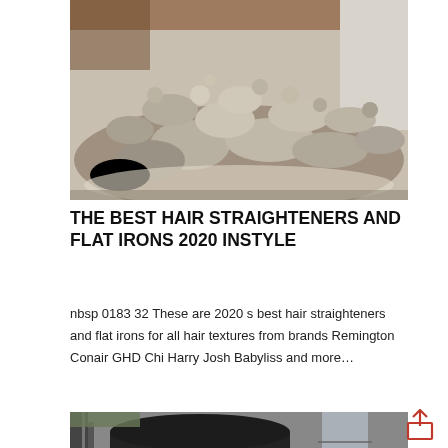[Figure (photo): Pile of rubble, broken concrete and rocks against a weathered wall with reddish-brown staining at the top]
THE BEST HAIR STRAIGHTENERS AND FLAT IRONS 2020 INSTYLE
nbsp 0183 32 These are 2020 s best hair straighteners and flat irons for all hair textures from brands Remington Conair GHD Chi Harry Josh Babyliss and more…
[Figure (photo): Industrial equipment with a dark cylindrical tank and metal ducting/pipes, interior building setting]
[Figure (other): Share/upload icon — box with upward arrow]